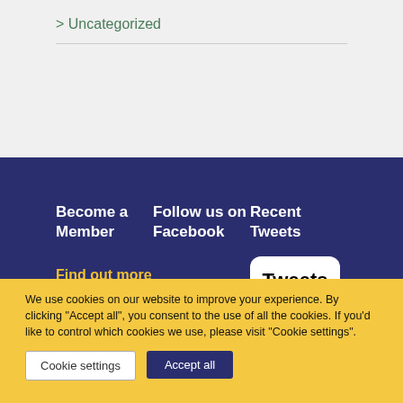> Uncategorized
Become a Member
Follow us on Facebook
Recent Tweets
Find out more
Tweets from
We use cookies on our website to improve your experience. By clicking "Accept all", you consent to the use of all the cookies. If you'd like to control which cookies we use, please visit "Cookie settings".
Cookie settings
Accept all